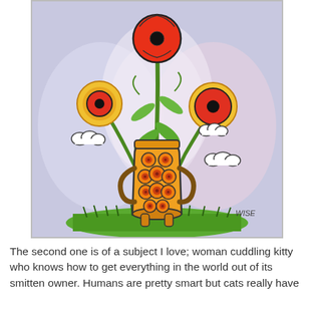[Figure (illustration): A colorful folk-art style painting of a tall yellow vase with orange circle decorations and two handles, containing three large red poppy-like flowers with black centers on green stems. Two cartoon clouds float on either side. The vase stands on bright green grass against a swirling lavender and white background. Signed 'WISE' in the lower right corner.]
The second one is of a subject I love; woman cuddling kitty who knows how to get everything in the world out of its smitten owner. Humans are pretty smart but cats really have